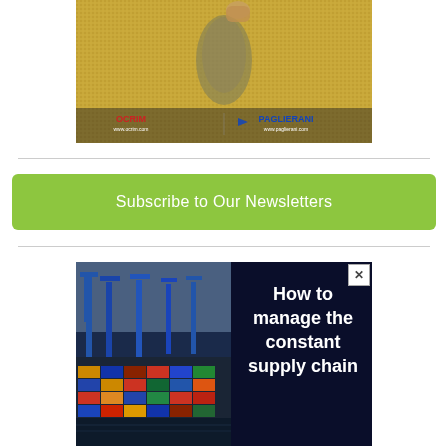[Figure (photo): Aerial view of grain/seed pile with OCRIM and PAGLIERANI logos and website URLs at the bottom]
[Figure (infographic): Advertisement showing a shipping port with blue cranes and colorful cargo containers. Text reads: 'How to manage the constant supply chain']